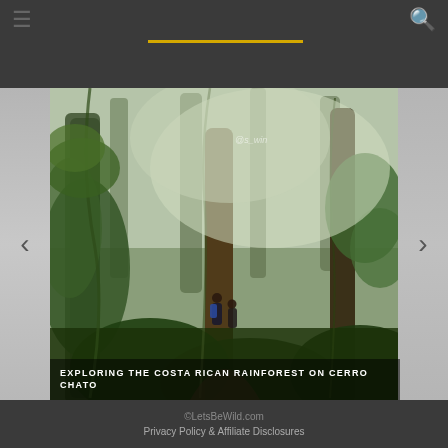≡ [nav] 🔍
[Figure (photo): A misty Costa Rican rainforest scene on Cerro Chato, with tall trees draped in vines and moss, dense green undergrowth, two hikers visible on a trail in the middle distance, fog obscuring the upper canopy.]
EXPLORING THE COSTA RICAN RAINFOREST ON CERRO CHATO
©LetsBeWild.com
Privacy Policy & Affiliate Disclosures